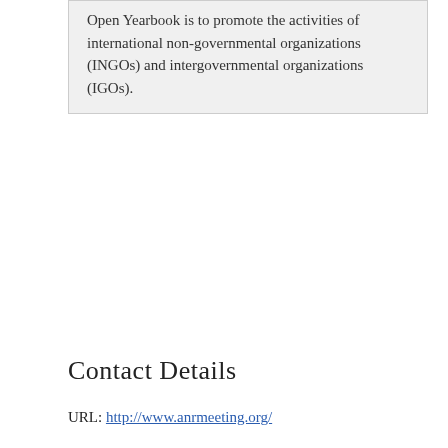Open Yearbook is to promote the activities of international non-governmental organizations (INGOs) and intergovernmental organizations (IGOs).
Contact Details
URL: http://www.anrmeeting.org/